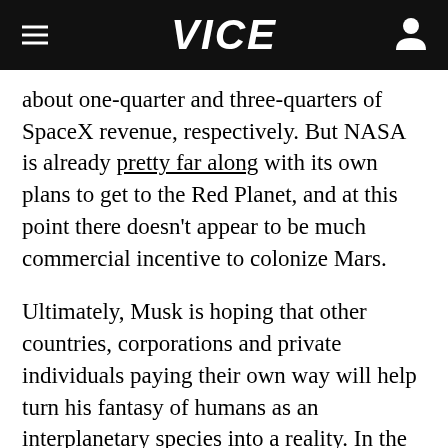VICE
about one-quarter and three-quarters of SpaceX revenue, respectively. But NASA is already pretty far along with its own plans to get to the Red Planet, and at this point there doesn't appear to be much commercial incentive to colonize Mars.
Ultimately, Musk is hoping that other countries, corporations and private individuals paying their own way will help turn his fantasy of humans as an interplanetary species into a reality. In the meantime, Musk vowed to increase his own wealth so that he can invest as